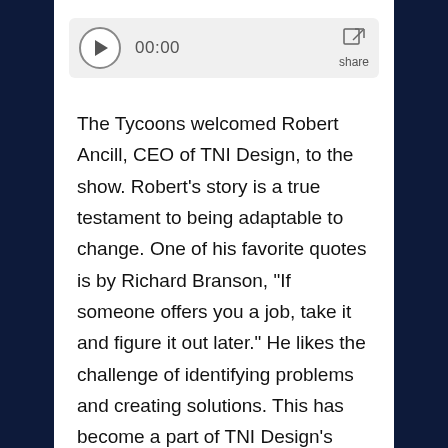[Figure (screenshot): Audio player widget with play button, timestamp 00:00, and share icon]
The Tycoons welcomed Robert Ancill, CEO of TNI Design, to the show. Robert's story is a true testament to being adaptable to change. One of his favorite quotes is by Richard Branson, “If someone offers you a job, take it and figure it out later.” He likes the challenge of identifying problems and creating solutions. This has become a part of TNI Design’s business model to evaluate their work and collect data to understand if the design truly meets the client’s needs.